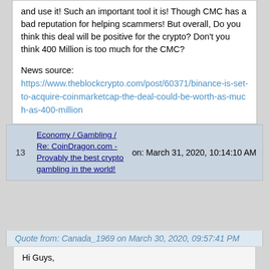and use it! Such an important tool it is! Though CMC has a bad reputation for helping scammers! But overall, Do you think this deal will be positive for the crypto? Don't you think 400 Million is too much for the CMC?
News source:
https://www.theblockcrypto.com/post/60371/binance-is-set-to-acquire-coinmarketcap-the-deal-could-be-worth-as-much-as-400-million
| # | Subject | Date |
| --- | --- | --- |
| 13 | Economy / Gambling / Re: CoinDragon.com - Provably the best crypto gambling in the world! | on: March 31, 2020, 10:14:10 AM |
Quote from: Canada_1969 on March 30, 2020, 09:57:41 PM
Hi Guys,

The casino is a scam, be careful! Please read below

I am new here, but I like casino games, so I when I heard about coindragon from a friend, I could not resist to try.

The offer sounds goods, you get 100% of the winnings and get 30% cash back on your losses.

In my case, I deposited crypto, played one game (one flip)